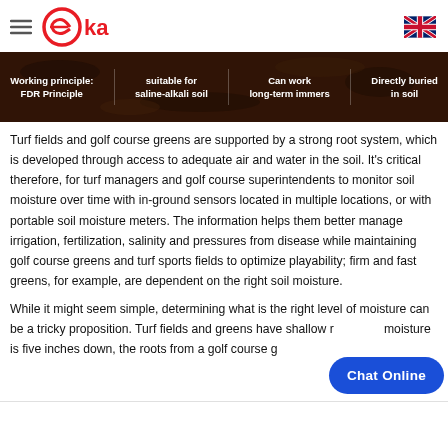EIKA logo and navigation header with UK flag
[Figure (infographic): Dark soil texture banner with four feature columns: Working principle: FDR Principle | suitable for saline-alkali soil | Can work long-term immers | Directly buried in soil]
Turf fields and golf course greens are supported by a strong root system, which is developed through access to adequate air and water in the soil. It's critical therefore, for turf managers and golf course superintendents to monitor soil moisture over time with in-ground sensors located in multiple locations, or with portable soil moisture meters. The information helps them better manage irrigation, fertilization, salinity and pressures from disease while maintaining golf course greens and turf sports fields to optimize playability; firm and fast greens, for example, are dependent on the right soil moisture.
While it might seem simple, determining what is the right level of moisture can be a tricky proposition. Turf fields and greens have shallow r moisture is five inches down, the roots from a golf course g
[Figure (other): Blue Chat Online button overlay]